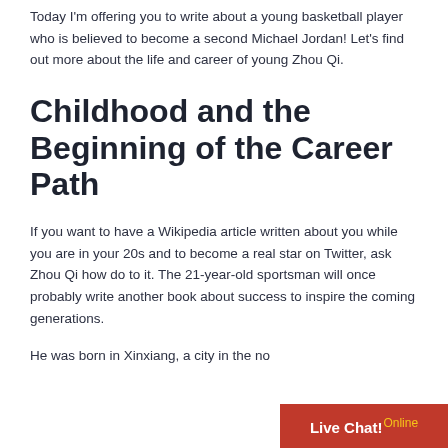Today I'm offering you to write about a young basketball player who is believed to become a second Michael Jordan! Let's find out more about the life and career of young Zhou Qi.
Childhood and the Beginning of the Career Path
If you want to have a Wikipedia article written about you while you are in your 20s and to become a real star on Twitter, ask Zhou Qi how do to it. The 21-year-old sportsman will once probably write another book about success to inspire the coming generations.
He was born in Xinxiang, a city in the no